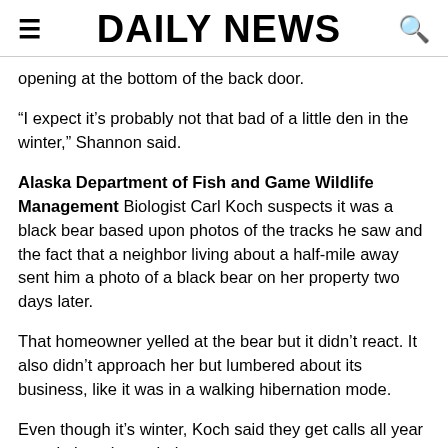DAILY NEWS
opening at the bottom of the back door.
“I expect it’s probably not that bad of a little den in the winter,” Shannon said.
Alaska Department of Fish and Game Wildlife Management Biologist Carl Koch suspects it was a black bear based upon photos of the tracks he saw and the fact that a neighbor living about a half-mile away sent him a photo of a black bear on her property two days later.
That homeowner yelled at the bear but it didn’t react. It also didn’t approach her but lumbered about its business, like it was in a walking hibernation mode.
Even though it’s winter, Koch said they get calls all year round about bears being out.